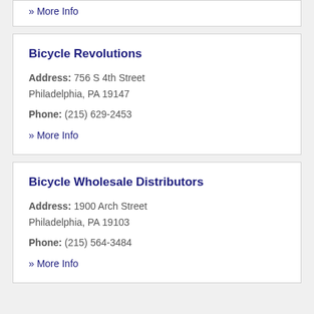» More Info
Bicycle Revolutions
Address: 756 S 4th Street Philadelphia, PA 19147
Phone: (215) 629-2453
» More Info
Bicycle Wholesale Distributors
Address: 1900 Arch Street Philadelphia, PA 19103
Phone: (215) 564-3484
» More Info